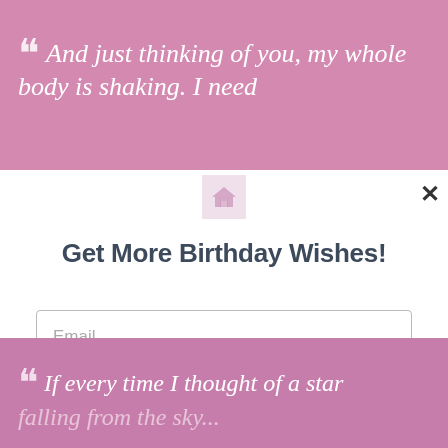“ And just thinking of you, my whole body is shaking. I need
[Figure (other): Home icon / house icon in a small light pink square, partially visible]
× (close button)
Get More Birthday Wishes!
Email (input placeholder)
Subscribe (button)
“ If every time I thought of a star falling from the sky...